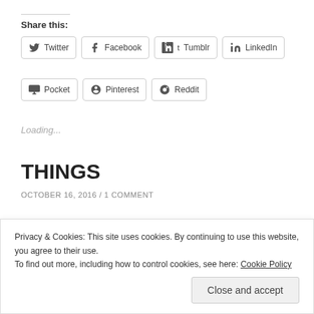Share this:
Twitter
Facebook
Tumblr
LinkedIn
Pocket
Pinterest
Reddit
Loading...
THINGS
OCTOBER 16, 2016 / 1 COMMENT
Privacy & Cookies: This site uses cookies. By continuing to use this website, you agree to their use. To find out more, including how to control cookies, see here: Cookie Policy
Close and accept